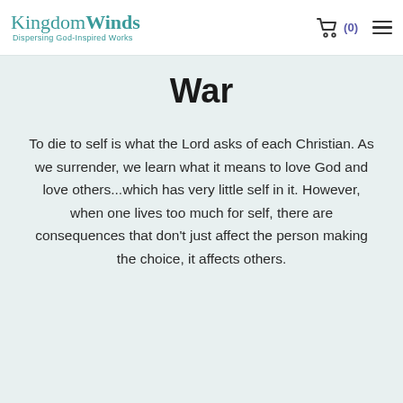KingdomWinds Dispersing God-Inspired Works
War
To die to self is what the Lord asks of each Christian. As we surrender, we learn what it means to love God and love others...which has very little self in it. However, when one lives too much for self, there are consequences that don't just affect the person making the choice, it affects others.